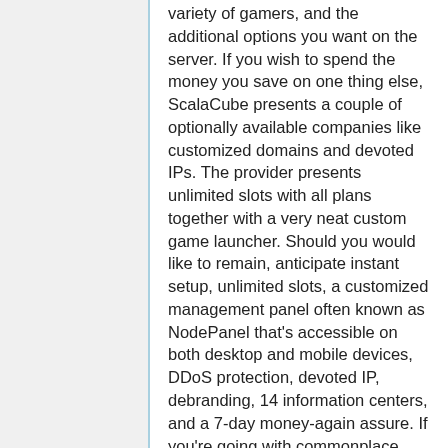variety of gamers, and the additional options you want on the server. If you wish to spend the money you save on one thing else, ScalaCube presents a couple of optionally available companies like customized domains and devoted IPs. The provider presents unlimited slots with all plans together with a very neat custom game launcher. Should you would like to remain, anticipate instant setup, unlimited slots, a customized management panel often known as NodePanel that's accessible on both desktop and mobile devices, DDoS protection, devoted IP, debranding, 14 information centers, and a 7-day money-again assure. If you're going with commonplace, you're positively getting the shorter end of the stick in some areas, however that's to be anticipated